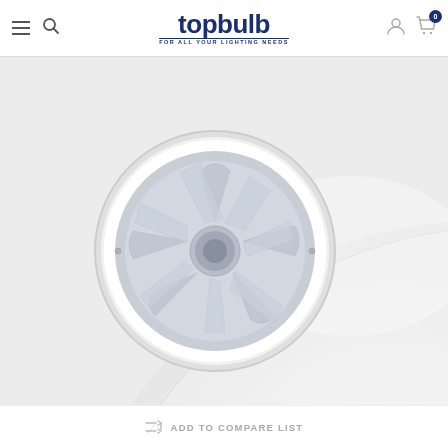topbulb FOR ALL YOUR LIGHTING NEEDS
[Figure (photo): Close-up product photo of a white ceiling-mounted PIR motion sensor / occupancy sensor with a dome shape and a circular lens housing in the upper-left portion. The device is white plastic with a recessed detector lens.]
ADD TO COMPARE LIST